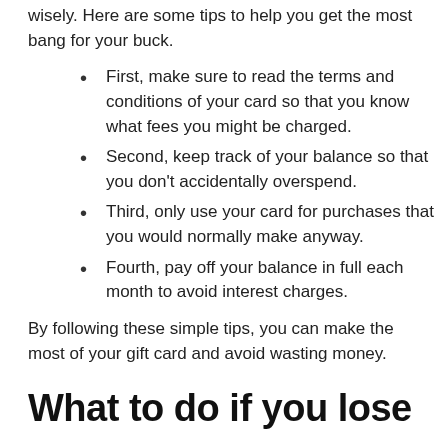As a newbie, you might not know how to use your gift card wisely. Here are some tips to help you get the most bang for your buck.
First, make sure to read the terms and conditions of your card so that you know what fees you might be charged.
Second, keep track of your balance so that you don't accidentally overspend.
Third, only use your card for purchases that you would normally make anyway.
Fourth, pay off your balance in full each month to avoid interest charges.
By following these simple tips, you can make the most of your gift card and avoid wasting money.
What to do if you lose